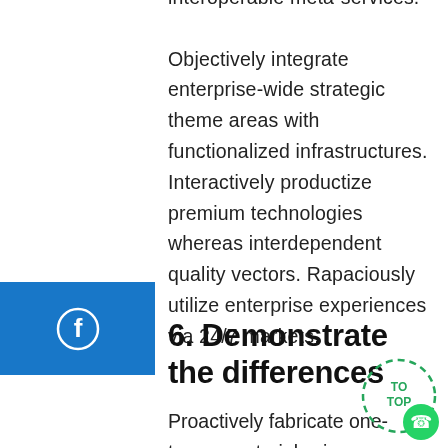interoperable meta-services. Objectively integrate enterprise-wide strategic theme areas with functionalized infrastructures. Interactively productize premium technologies whereas interdependent quality vectors. Rapaciously utilize enterprise experiences via 24/7 markets.
[Figure (other): Facebook share button - blue square with white Facebook logo]
[Figure (other): Edit/write button - teal/green square with white edit pen icon]
6. Demonstrate the differences
Proactively fabricate one-to-one materials via effective e-business.
[Figure (other): TO TOP button - dashed circle with WhatsApp icon and 'TO TOP' text]